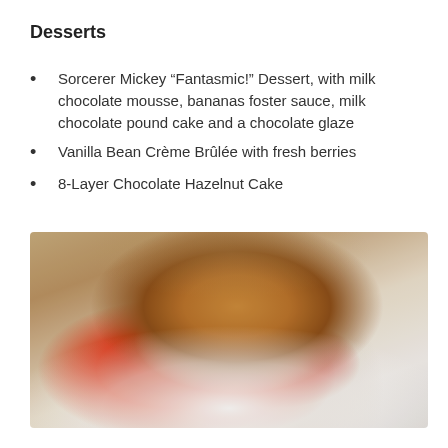Desserts
Sorcerer Mickey “Fantasmic!” Dessert, with milk chocolate mousse, bananas foster sauce, milk chocolate pound cake and a chocolate glaze
Vanilla Bean Crème Brûlée with fresh berries
8-Layer Chocolate Hazelnut Cake
[Figure (photo): A strawberry shortcake dessert on a white plate — a golden biscuit on top of whipped cream and fresh strawberries with red sauce, photographed on a light background.]